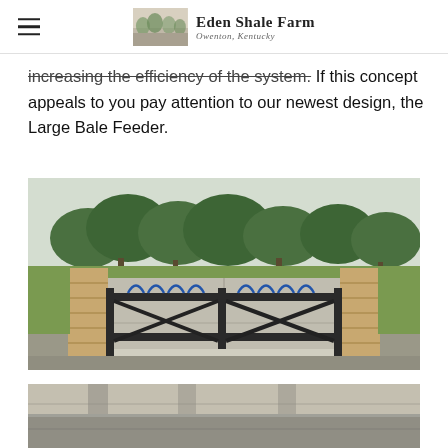Eden Shale Farm — Owenton, Kentucky
increasing the efficiency of the system. If this concept appeals to you pay attention to our newest design, the Large Bale Feeder.
[Figure (photo): Outdoor photograph of a large bale feeder structure: a wide concrete pad with wooden side walls and a metal gate/panel with decorative curved ironwork in the foreground. Trees and green grass visible in the background.]
[Figure (photo): Partial view of another outdoor photograph, appears to show ground-level view of a farm structure or feeder area.]